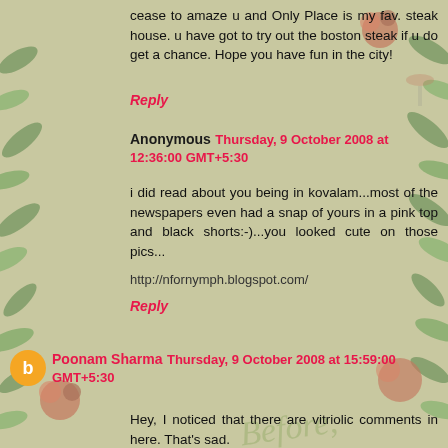cease to amaze u and Only Place is my fav. steak house. u have got to try out the boston steak if u do get a chance. Hope you have fun in the city!
Reply
Anonymous  Thursday, 9 October 2008 at 12:36:00 GMT+5:30
i did read about you being in kovalam...most of the newspapers even had a snap of yours in a pink top and black shorts:-)...you looked cute on those pics...
http://nfornymph.blogspot.com/
Reply
Poonam Sharma  Thursday, 9 October 2008 at 15:59:00 GMT+5:30
Hey, I noticed that there are vitriolic comments in here. That's sad.